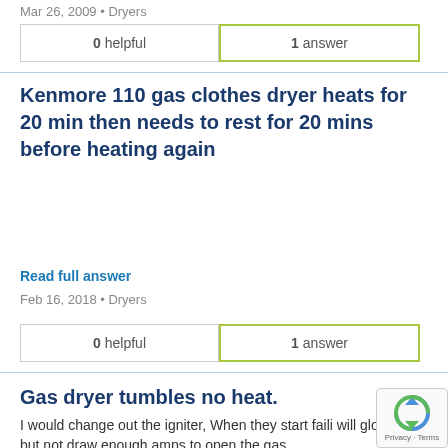Mar 26, 2009 • Dryers
| 0 helpful | 1 answer |
| --- | --- |
Kenmore 110 gas clothes dryer heats for 20 min then needs to rest for 20 mins before heating again
Read full answer
Feb 16, 2018 • Dryers
| 0 helpful | 1 answer |
| --- | --- |
Gas dryer tumbles no heat.
I would change out the igniter, When they start faili will glow but not draw enough amps to open the gas